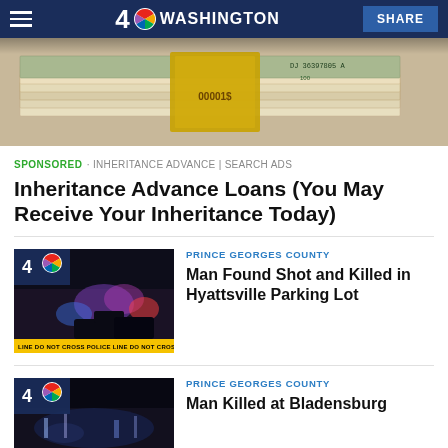4 NBC WASHINGTON | SHARE
[Figure (photo): Stacks of US dollar bills bundled with gold bands, showing serial number DJ36397805A and denomination label 00001$]
SPONSORED · INHERITANCE ADVANCE | SEARCH ADS
Inheritance Advance Loans (You May Receive Your Inheritance Today)
[Figure (photo): NBC4 news footage of a dark parking lot scene at night with police lights and yellow police tape reading POLICE LINE DO NOT CROSS]
PRINCE GEORGES COUNTY
Man Found Shot and Killed in Hyattsville Parking Lot
[Figure (photo): NBC4 news footage of a nighttime outdoor scene with distant lights]
PRINCE GEORGES COUNTY
Man Killed at Bladensburg